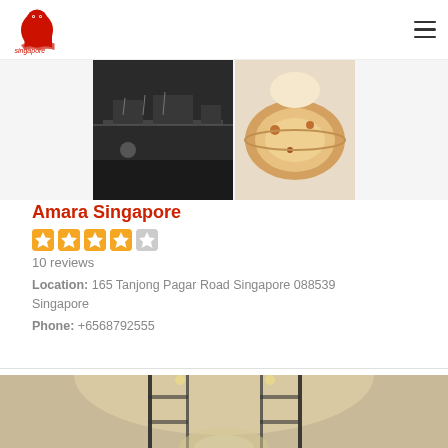singapore
[Figure (photo): Two restaurant photos side by side: left shows a dark kitchen/cooking scene, right shows an orange-toned bowl of food]
Amara Singapore
10 reviews
Location: 165 Tanjong Pagar Road Singapore 088539 Singapore
Phone: +6568792555
[Figure (photo): Interior photo of a restaurant or hotel space with vertical poles and warm lighting on ceiling]